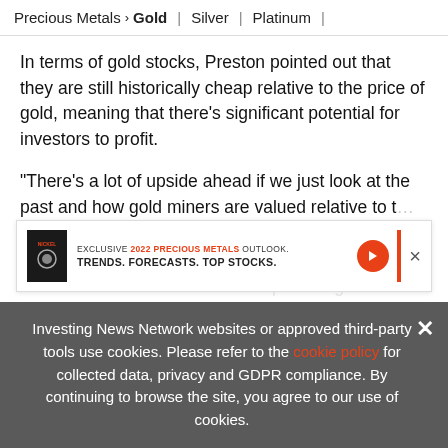Precious Metals > Gold | Silver | Platinum |
In terms of gold stocks, Preston pointed out that they are still historically cheap relative to the price of gold, meaning that there’s significant potential for investors to profit.
“There’s a lot of upside ahead if we just look at the past and how gold miners are valued relative to the price of gold… [obscured] … ahead … ratios for their valuations vs. the price of gold let
[Figure (screenshot): Ad banner: EXCLUSIVE 2022 PRECIOUS METALS OUTLOOK. TRENDS. FORECASTS. TOP STOCKS. with orange arrow button and close X.]
Investing News Network websites or approved third-party tools use cookies. Please refer to the cookie policy for collected data, privacy and GDPR compliance. By continuing to browse the site, you agree to our use of cookies.